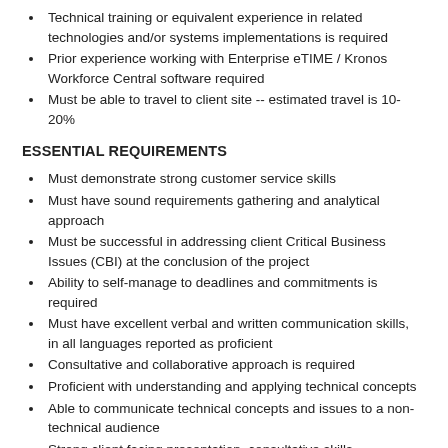Technical training or equivalent experience in related technologies and/or systems implementations is required
Prior experience working with Enterprise eTIME / Kronos Workforce Central software required
Must be able to travel to client site -- estimated travel is 10-20%
ESSENTIAL REQUIREMENTS
Must demonstrate strong customer service skills
Must have sound requirements gathering and analytical approach
Must be successful in addressing client Critical Business Issues (CBI) at the conclusion of the project
Ability to self-manage to deadlines and commitments is required
Must have excellent verbal and written communication skills, in all languages reported as proficient
Consultative and collaborative approach is required
Proficient with understanding and applying technical concepts
Able to communicate technical concepts and issues to a non-technical audience
Strong client facing presentation, consultative skills
Strong team building skills